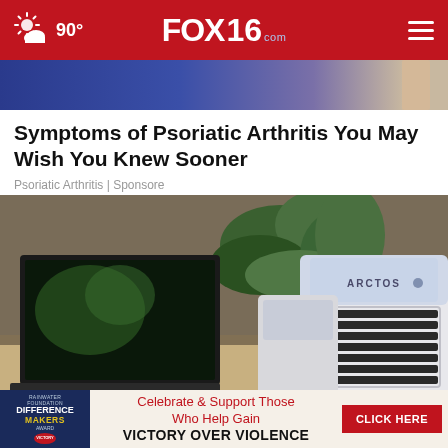FOX16.com — 90° weather — navigation
[Figure (photo): Partial photo of a person in blue clothing, cropped at top of page below header]
Symptoms of Psoriatic Arthritis You May Wish You Knew Sooner
Psoriatic Arthritis | Sponsore
[Figure (photo): Product photo of Arctos personal air cooler/mini air conditioner on a desk beside a laptop and green plant]
[Figure (photo): Advertisement banner: Rainwater Foundation Difference Makers Award — Celebrate & Support Those Who Help Gain VICTORY OVER VIOLENCE — CLICK HERE button]